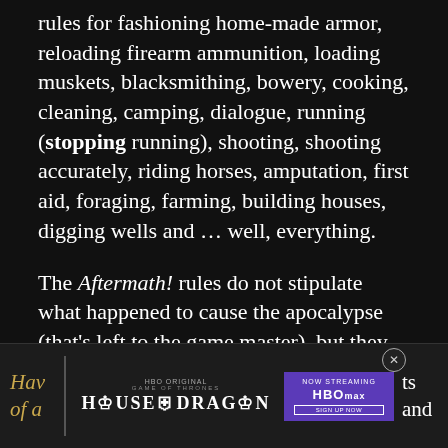rules for fashioning home-made armor, reloading firearm ammunition, loading muskets, blacksmithing, bowery, cooking, cleaning, camping, dialogue, running (stopping running), shooting, shooting accurately, riding horses, amputation, first aid, foraging, farming, building houses, digging wells and … well, everything.
The Aftermath! rules do not stipulate what happened to cause the apocalypse (that's left to the game master), but they do allow for practically every possible scenario imaginable, from alien invasion to zombie infestation, detailing the after-effects of each. Including The Flood.
From the Aftermath! Game Master's Guide:
[Figure (screenshot): Advertisement banner for House of the Dragon on HBO Max. Shows partial text 'Hav' and 'of a' on left and right sides, HBO original Game of Thrones House of the Dragon logo in center, and NOW STREAMING HBOMAX panel on right with a close button (X) in top right corner.]